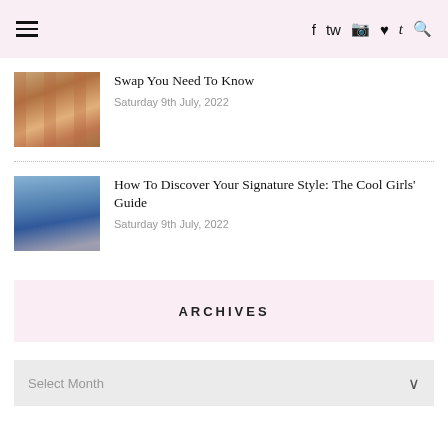Navigation header with hamburger menu and social icons: facebook, twitter, instagram, pinterest, tumblr, search
Swap You Need To Know
Saturday 9th July, 2022
How To Discover Your Signature Style: The Cool Girls' Guide
Saturday 9th July, 2022
ARCHIVES
Select Month